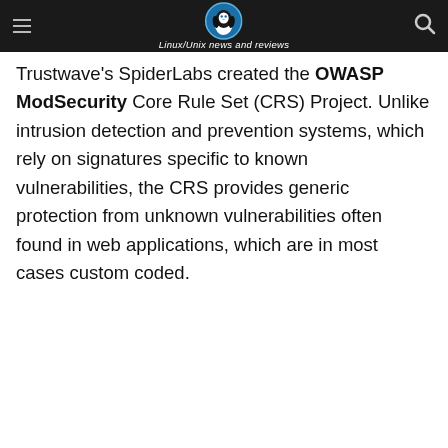Unixmen — Linux/Unix news and reviews
Trustwave's SpiderLabs created the OWASP ModSecurity Core Rule Set (CRS) Project. Unlike intrusion detection and prevention systems, which rely on signatures specific to known vulnerabilities, the CRS provides generic protection from unknown vulnerabilities often found in web applications, which are in most cases custom coded.